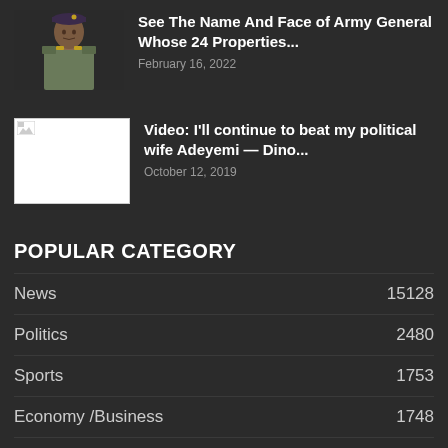[Figure (photo): Photo of a Nigerian Army General in military uniform and beret]
See The Name And Face of Army General Whose 24 Properties...
February 16, 2022
[Figure (photo): Broken/missing image thumbnail (white box with broken image icon)]
Video: I'll continue to beat my political wife Adeyemi — Dino...
October 12, 2019
POPULAR CATEGORY
News 15128
Politics 2480
Sports 1753
Economy /Business 1748
World 1395
Entertainment 1296
Exclusive 1019